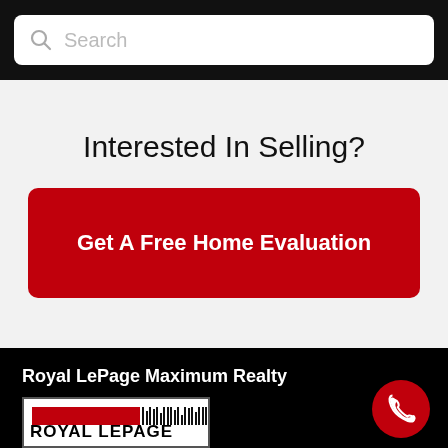Search
Interested In Selling?
Get A Free Home Evaluation
Royal LePage Maximum Realty
[Figure (logo): Royal LePage logo with red bar and barcode design, text reading ROYAL LEPAGE]